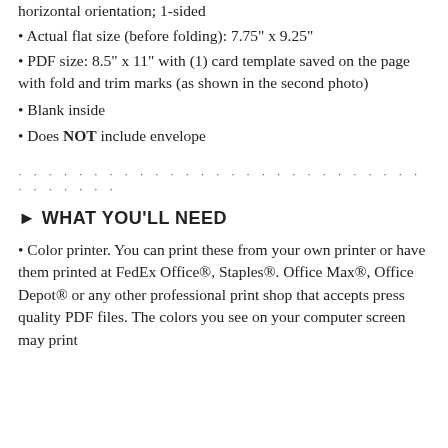horizontal orientation; 1-sided
Actual flat size (before folding): 7.75" x 9.25"
PDF size: 8.5" x 11" with (1) card template saved on the page with fold and trim marks (as shown in the second photo)
Blank inside
Does NOT include envelope
· · · · · · · · · · · · · · · · · · · · · · · · · · · · · · · · · · · ·
► WHAT YOU'LL NEED
• Color printer. You can print these from your own printer or have them printed at FedEx Office®, Staples®. Office Max®, Office Depot® or any other professional print shop that accepts press quality PDF files. The colors you see on your computer screen may print